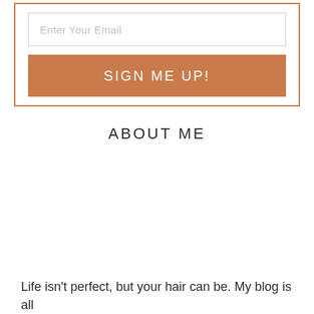[Figure (screenshot): Email input field with placeholder text 'Enter Your Email' inside a dashed/solid bordered box]
[Figure (screenshot): Button with terracotta/brown-orange background labeled 'SIGN ME UP!' in white uppercase letters]
ABOUT ME
Life isn't perfect, but your hair can be. My blog is all about helping you get...